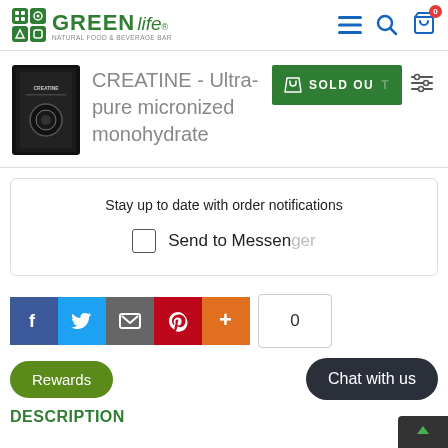GREEN Life - Natural Food & Beverage Bar
CREATINE - Ultra-pure micronized monohydrate
SOLD OUT
Stay up to date with order notifications
Send to Messenger
0
Rewards
Chat with us
DESCRIPTION